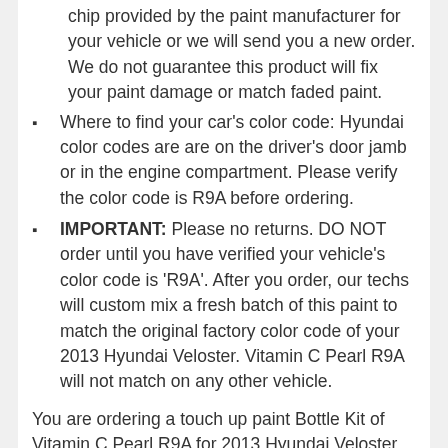chip provided by the paint manufacturer for your vehicle or we will send you a new order. We do not guarantee this product will fix your paint damage or match faded paint.
Where to find your car's color code: Hyundai color codes are are on the driver's door jamb or in the engine compartment. Please verify the color code is R9A before ordering.
IMPORTANT: Please no returns. DO NOT order until you have verified your vehicle's color code is 'R9A'. After you order, our techs will custom mix a fresh batch of this paint to match the original factory color code of your 2013 Hyundai Veloster. Vitamin C Pearl R9A will not match on any other vehicle.
You are ordering a touch up paint Bottle Kit of Vitamin C Pearl R9A for 2013 Hyundai Veloster from PAINTSCRATCH. Original Factory OEM Automotive Paint – Color Match Guaranteed. You MUST VERIFY YOUR